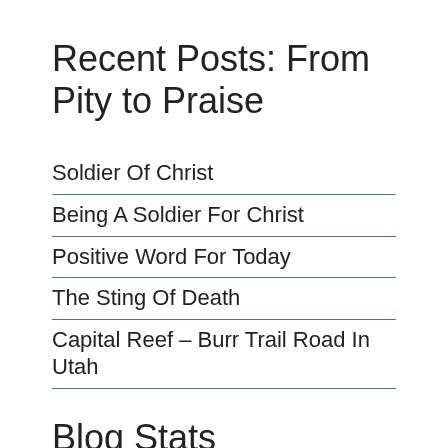Recent Posts: From Pity to Praise
Soldier Of Christ
Being A Soldier For Christ
Positive Word For Today
The Sting Of Death
Capital Reef – Burr Trail Road In Utah
Blog Stats